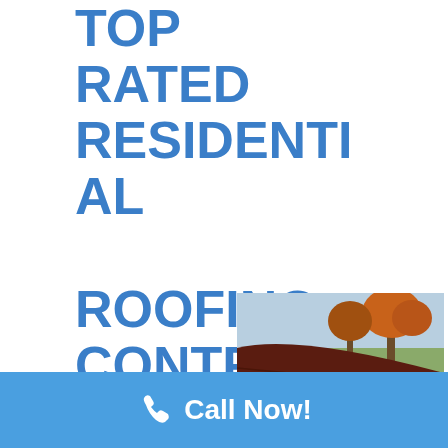TOP RATED RESIDENTIAL ROOFING CONTRACTOR BASED IN ELKINS, AR
[Figure (photo): Photo of a dark brownish-red metal roof with autumn trees in the background and a blue sky.]
Call Now!